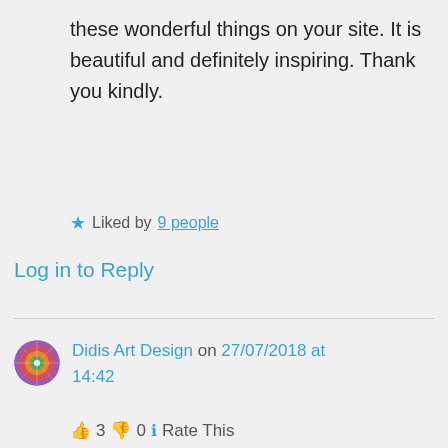these wonderful things on your site. It is beautiful and definitely inspiring. Thank you kindly.
Liked by 9 people
Log in to Reply
Didis Art Design on 27/07/2018 at 14:42
👍 3 👎 0 ℹ Rate This
Privacy & Cookies: This site uses cookies. By continuing to use this website, you agree to their use.
To find out more, including how to control cookies, see here: Cookie Policy
Close and accept
comment. I just discovered it. Nice